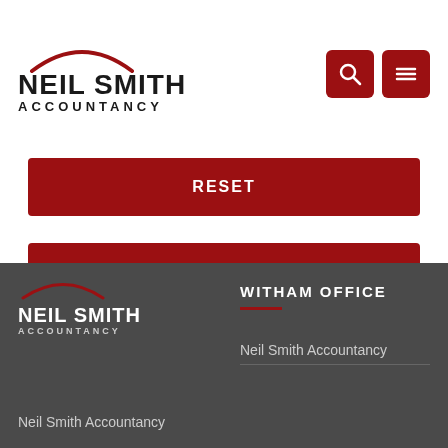NEIL SMITH ACCOUNTANCY
RESET
SUBMIT
WITHAM OFFICE
[Figure (logo): Neil Smith Accountancy logo with red arc above text, white on dark background]
Neil Smith Accountancy
Neil Smith Accountancy
Neil Smith Accountancy - Witham Office